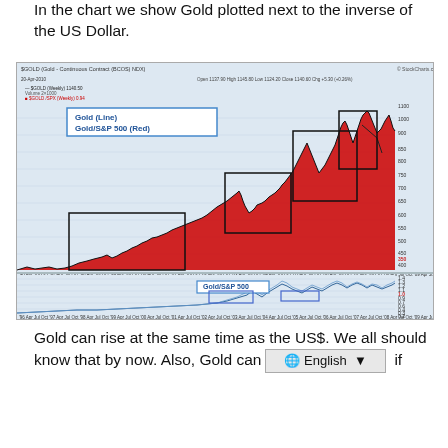In the chart we show Gold plotted next to the inverse of the US Dollar.
[Figure (continuous-plot): StockCharts chart showing $GOLD (Gold Continuous Contract) weekly price in red area chart from ~1996 to 2010, overlaid with Gold/S&P 500 ratio line in red. Lower panel shows Gold/S&P 500 ratio as a line chart. Several rectangular annotations highlight key consolidation periods on both panels.]
Gold can rise at the same time as the US$. We all should know that by now. Also, Gold can [continue] if